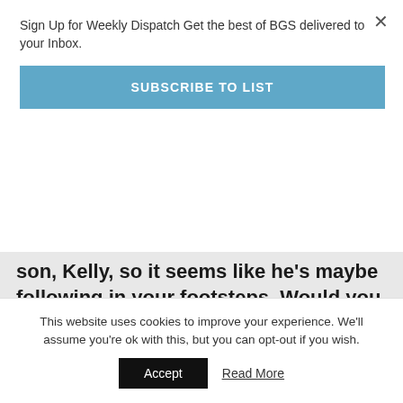Sign Up for Weekly Dispatch Get the best of BGS delivered to your Inbox.
SUBSCRIBE TO LIST
son, Kelly, so it seems like he's maybe following in your footsteps. Would you encourage your kids to become working musicians?
If it would make them happy, I wouldn't discourage them. Let me put it that way. It would
This website uses cookies to improve your experience. We'll assume you're ok with this, but you can opt-out if you wish.
Accept
Read More